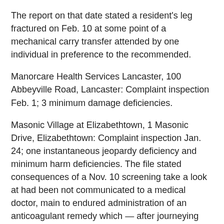The report on that date stated a resident's leg fractured on Feb. 10 at some point of a mechanical carry transfer attended by one individual in preference to the recommended.
Manorcare Health Services Lancaster, 100 Abbeyville Road, Lancaster: Complaint inspection Feb. 1; 3 minimum damage deficiencies.
Masonic Village at Elizabethtown, 1 Masonic Drive, Elizabethtown: Complaint inspection Jan. 24; one instantaneous jeopardy deficiency and minimum harm deficiencies. The file stated consequences of a Nov. 10 screening take a look at had been not communicated to a medical doctor, main to endured administration of an anticoagulant remedy which — after journeying circle of relatives raised concerns — led to a resident's emergency transport to the health center on Dec. 1